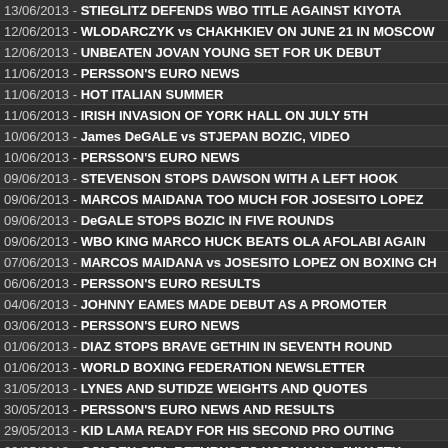13/06/2013 - STIEGLITZ DEFENDS WBO TITLE AGAINST KIYOTA
12/06/2013 - WLODARCZYK vs CHAKHKIEV ON JUNE 21 IN MOSCOW
12/06/2013 - UNBEATEN JOVAN YOUNG SET FOR UK DEBUT
11/06/2013 - PERSSON'S EURO NEWS
11/06/2013 - HOT ITALIAN SUMMER
11/06/2013 - IRISH INVASION OF YORK HALL ON JULY 5TH
10/06/2013 - James DeGALE vs STJEPAN BOZIC, VIDEO
10/06/2013 - PERSSON'S EURO NEWS
09/06/2013 - STEVENSON STOPS DAWSON WITH A LEFT HOOK
09/06/2013 - MARCOS MAIDANA TOO MUCH FOR JOSESITO LOPEZ
09/06/2013 - DeGALE STOPS BOZIC IN FIVE ROUNDS
09/06/2013 - WBO KING MARCO HUCK BEATS OLA AFOLABI AGAIN
07/06/2013 - MARCOS MAIDANA vs JOSESITO LOPEZ ON BOXING CH
06/06/2013 - PERSSON'S EURO RESULTS
04/06/2013 - JOHNNY EAMES MADE DEBUT AS A PROMOTER
03/06/2013 - PERSSON'S EURO NEWS
01/06/2013 - DIAZ STOPS BRAVE GETHIN IN SEVENTH ROUND
01/06/2013 - WORLD BOXING FEDERATION NEWSLETTER
31/05/2013 - LYNES AND SUTIDZE WEIGHTS AND QUOTES
30/05/2013 - PERSSON'S EURO NEWS AND RESULTS
29/05/2013 - KID LAMA READY FOR HIS SECOND PRO OUTING
29/05/2013 - GOLDEN GIRL RETURNS TO YORK HALL JULY 5TH
28/05/2013 - BOXERS UNITE FOR TROOPS IN AFTERMATCH OF WOO
26/05/2013 - FROCH vs KELLSER, ROUND-BY-ROUND COVERAGE
26/05/2013 - FROCH BEATS KESSLER IN UNIFICATION BATTLE
24/05/2013 - PERSSON'S EURO NEWS AND RESULTS
24/05/2013 - ABOUT CARL FROCH vs MIKKEL KESSLER